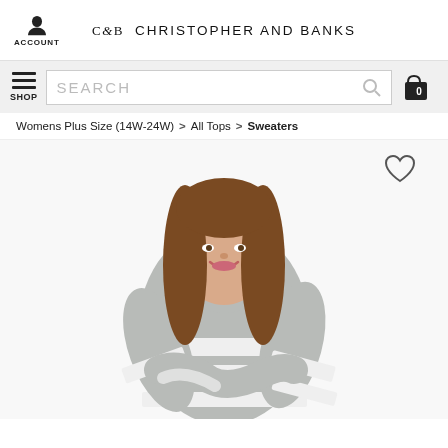C&B CHRISTOPHER AND BANKS
[Figure (screenshot): Search bar with hamburger menu SHOP label on left, SEARCH placeholder input, magnifying glass icon, and shopping bag icon with 0 count on right]
Womens Plus Size (14W-24W) > All Tops > Sweaters
[Figure (photo): Woman with long brown hair smiling, wearing a grey and white striped mock-neck sweater, arms crossed, on white background. Heart/wishlist icon in upper right.]